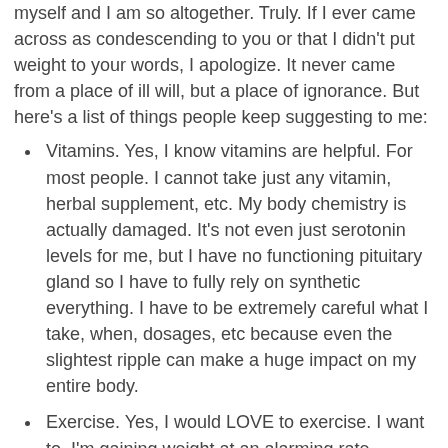myself and I am so altogether. Truly. If I ever came across as condescending to you or that I didn't put weight to your words, I apologize. It never came from a place of ill will, but a place of ignorance. But here's a list of things people keep suggesting to me:
Vitamins. Yes, I know vitamins are helpful. For most people. I cannot take just any vitamin, herbal supplement, etc. My body chemistry is actually damaged. It's not even just serotonin levels for me, but I have no functioning pituitary gland so I have to fully rely on synthetic everything. I have to be extremely careful what I take, when, dosages, etc because even the slightest ripple can make a huge impact on my entire body.
Exercise. Yes, I would LOVE to exercise. I want to. I'm gaining weight at an alarming rate because of the steroids I have to take in order to live, and I'm definitely not happy with where I am. But I also can't just get up and go. I take a medication that actually enables me to get out of bed and